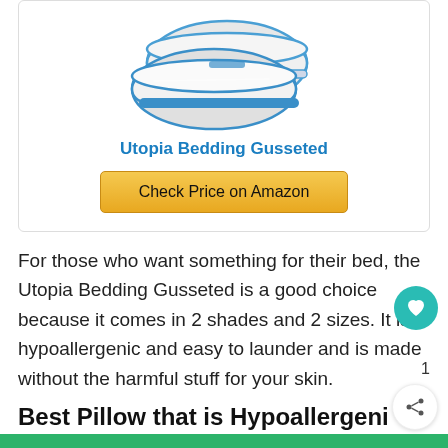[Figure (photo): Utopia Bedding Gusseted pillow product image showing two white pillows with blue trim, stacked at an angle]
Utopia Bedding Gusseted
[Figure (other): Check Price on Amazon button (gold/yellow rounded rectangle)]
For those who want something for their bed, the Utopia Bedding Gusseted is a good choice because it comes in 2 shades and 2 sizes. It is hypoallergenic and easy to launder and is made without the harmful stuff for your skin.
Best Pillow that is Hypoallergenic